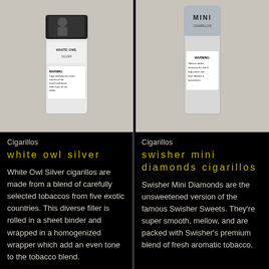[Figure (photo): Photo of White Owl Silver cigarillo package against light beige background]
[Figure (photo): Photo of Swisher Mini Diamonds cigarillos package against light beige background]
Cigarillos
white owl silver
White Owl Silver cigarillos are made from a blend of carefully selected tobaccos from five exotic countries. This diverse filler is rolled in a sheet binder and wrapped in a homogenized wrapper which add an even tone to the tobacco blend.
Cigarillos
swisher mini diamonds cigarillos
Swisher Mini Diamonds are the unsweetened version of the famous Swisher Sweets. They're super smooth, mellow, and are packed with Swisher's premium blend of fresh aromatic tobacco.